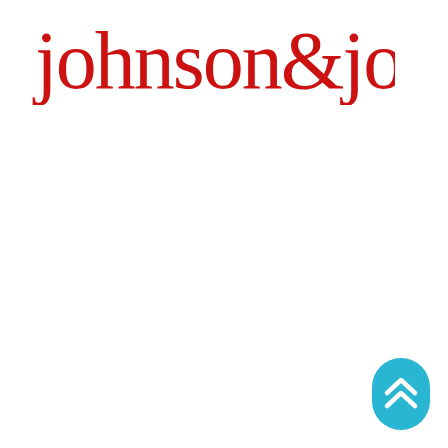[Figure (logo): Johnson & Johnson cursive red logo wordmark]
[Figure (other): Cyan/teal rounded pill-shaped scroll-to-top button with double chevron arrows pointing up in white]